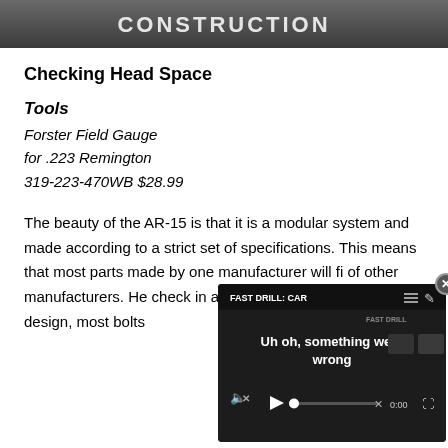[Figure (photo): Partial top image with white text overlay reading 'CONSTRUCTION' on a dark photo background, cropped at top of page]
Checking Head Space
Tools
Forster Field Gauge
for .223 Remington
319-223-470WB $28.99
The beauty of the AR-15 is that it is a modular system and made according to a strict set of specifications. This means that most parts made by one manufacturer will fit the parts of other manufacturers. He check in all firearms, but b inherent design, most bolts
[Figure (screenshot): Video player overlay showing error message 'Uh oh, something went wrong' with title 'FAST DRILL: CAR' and playback controls showing 0:00, with close button (x) in corner]